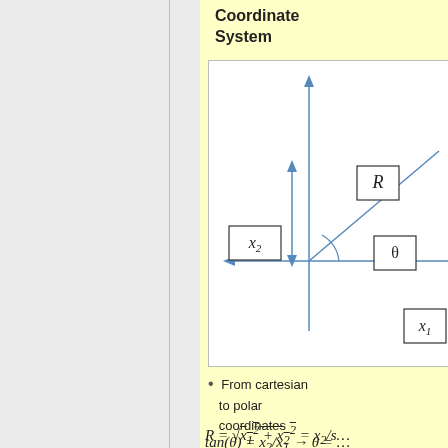Coordinate System
[Figure (engineering-diagram): Polar coordinate system diagram showing x1 (horizontal axis), x2 (vertical axis), R (radius vector), and theta (angle). Arrows indicate positive x2 upward and positive x1 rightward. The radius R goes from origin at an angle theta from x1 axis.]
From cartesian to polar coordinates